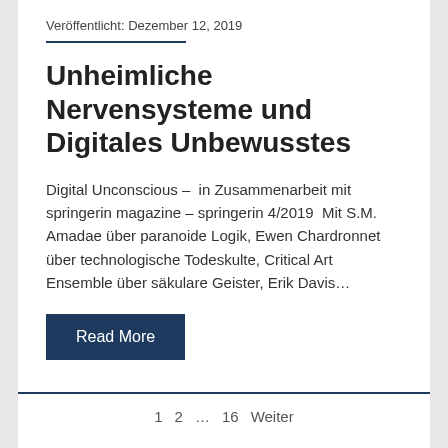Veröffentlicht: Dezember 12, 2019
Unheimliche Nervensysteme und Digitales Unbewusstes
Digital Unconscious –  in Zusammenarbeit mit springerin magazine – springerin 4/2019  Mit S.M. Amadae über paranoide Logik, Ewen Chardronnet über technologische Todeskulte, Critical Art Ensemble über säkulare Geister, Erik Davis…
Read More
WORLD-INFORMATION INSTITUTE